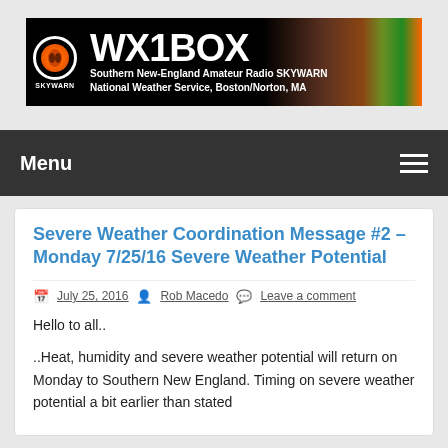[Figure (logo): WX1BOX SKYWARN banner logo with orange/black emblem and colorful background. Text reads: WX1BOX, Southern New-England Amateur Radio SKYWARN, National Weather Service, Boston/Norton, MA]
Menu
Severe Weather Coordination Message #2 – Monday 7/25/16 Severe Weather Potential
July 25, 2016   Rob Macedo   Leave a comment
Hello to all..
..Heat, humidity and severe weather potential will return on Monday to Southern New England. Timing on severe weather potential a bit earlier than stated